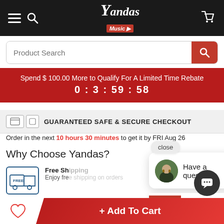[Figure (screenshot): Yandas Music website header with hamburger menu, search icon, logo, and cart icon on dark background]
Product Search
Spend $100.00 More to Qualify For A Limited Time Rebate 0 : 3 : 59 : 58
GUARANTEED SAFE & SECURE CHECKOUT
Order in the next 10 hours 30 minutes to get it by FRI Aug 26
Why Choose Yandas?
Free Sh... Enjoy fre...
ProTech
Inspection before shipping
Have a question?
close
3 Visitor Right Now
+ Add To Cart